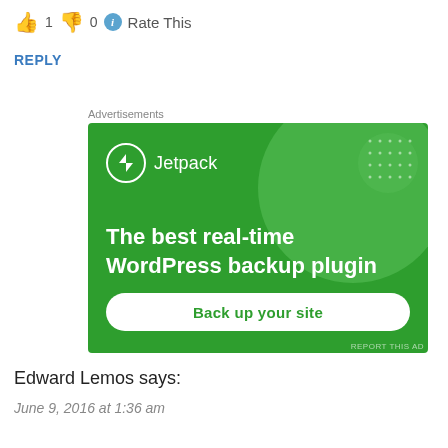👍 1 👎 0 ℹ Rate This
REPLY
Advertisements
[Figure (infographic): Jetpack advertisement banner on green background. Shows Jetpack logo (lightning bolt icon in circle) with text 'The best real-time WordPress backup plugin' and a white button 'Back up your site'. Decorative green circles and white dot pattern in background.]
Edward Lemos says:
June 9, 2016 at 1:36 am